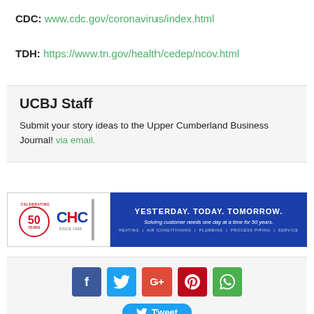CDC: www.cdc.gov/coronavirus/index.html
TDH: https://www.tn.gov/health/cedep/ncov.html
UCBJ Staff
Submit your story ideas to the Upper Cumberland Business Journal! via email.
[Figure (illustration): CHC (Cumberland Heating & Cooling) advertisement banner: 50 years logo on left, blue panel on right with text YESTERDAY. TODAY. TOMORROW. Solving customer needs one day at a time for 50 years. Services: HEATING | AIR CONDITIONING | PLUMBING | PROCESS PIPING | SERVICE]
[Figure (infographic): Social media sharing buttons: Facebook, Twitter, Google+, Pinterest, WhatsApp icons, and a Tweet button below]